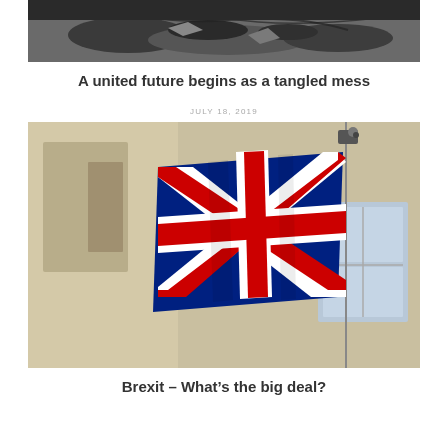[Figure (photo): Top partial image showing rubble, wires and debris in dark tones]
A united future begins as a tangled mess
JULY 18, 2019
[Figure (photo): UK Union Jack flag waving on a pole in front of a building facade]
Brexit – What's the big deal?